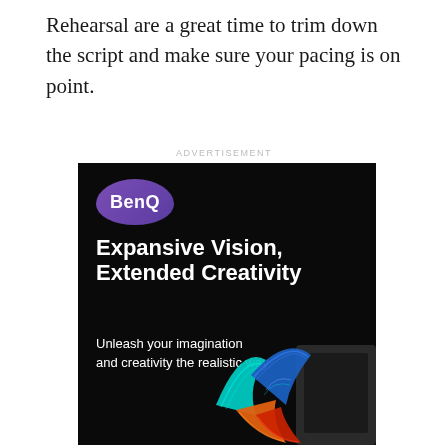Rehearsal are a great time to trim down the script and make sure your pacing is on point.
ADVERTISEMENT
[Figure (illustration): BenQ advertisement on black background. Top-left shows BenQ logo in purple speech-bubble shape. Large bold white text reads 'Expansive Vision, Extended Creativity'. Subtitle reads 'Unleash your imagination and creativity the realistic way'. Bottom-right shows a colorful betta fish illustration in teal, blue, orange, and red hues emerging from a monitor screen.]